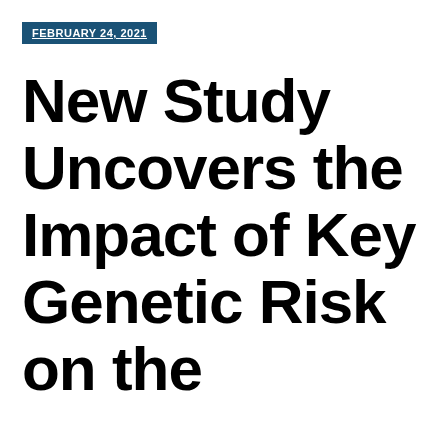FEBRUARY 24, 2021
New Study Uncovers the Impact of Key Genetic Risk on the